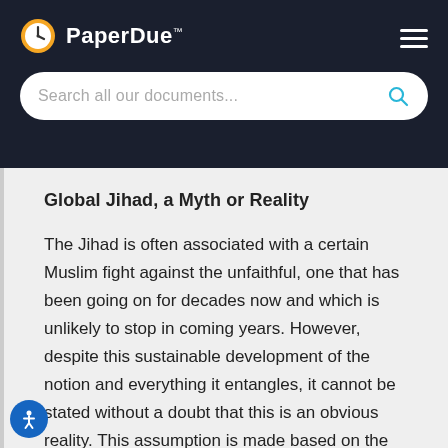PaperDue™
Global Jihad, a Myth or Reality
The Jihad is often associated with a certain Muslim fight against the unfaithful, one that has been going on for decades now and which is unlikely to stop in coming years. However, despite this sustainable development of the notion and everything it entangles, it cannot be stated without a doubt that this is an obvious reality. This assumption is made based on the fact that the Jihad, as a means of war,